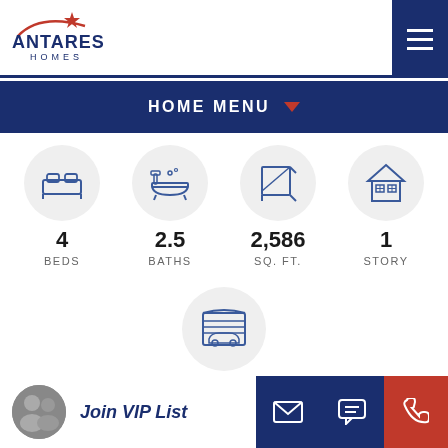[Figure (logo): Antares Homes logo with star and swoosh]
HOME MENU
[Figure (infographic): Home specs icons: 4 Beds, 2.5 Baths, 2,586 SQ. FT., 1 Story, 2-Car Garage]
Join VIP List